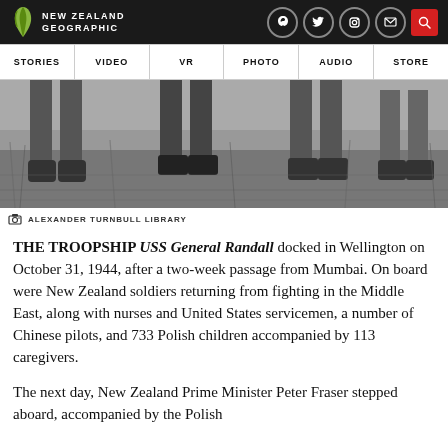NEW ZEALAND GEOGRAPHIC
[Figure (photo): Black and white photo showing legs and feet of people standing on grass, cropped at waist level]
ALEXANDER TURNBULL LIBRARY
THE TROOPSHIP USS General Randall docked in Wellington on October 31, 1944, after a two-week passage from Mumbai. On board were New Zealand soldiers returning from fighting in the Middle East, along with nurses and United States servicemen, a number of Chinese pilots, and 733 Polish children accompanied by 113 caregivers.
The next day, New Zealand Prime Minister Peter Fraser stepped aboard, accompanied by the Polish